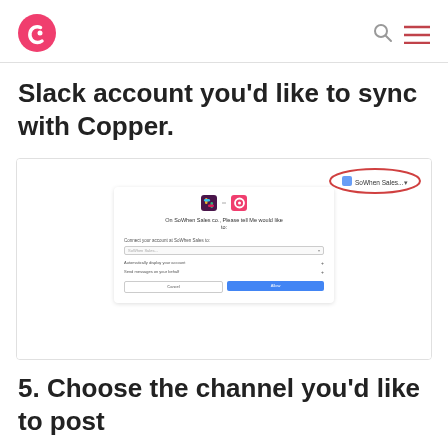[Figure (logo): Copper CRM logo - pink circle with white C shape]
Slack account you'd like to sync with Copper.
[Figure (screenshot): Screenshot of a Zapier/integration authorization dialog showing Slack and Copper icons, with a red oval highlight on an account button in the top right corner. The dialog has dropdowns and expand options with Cancel and Allow buttons.]
5. Choose the channel you'd like to post